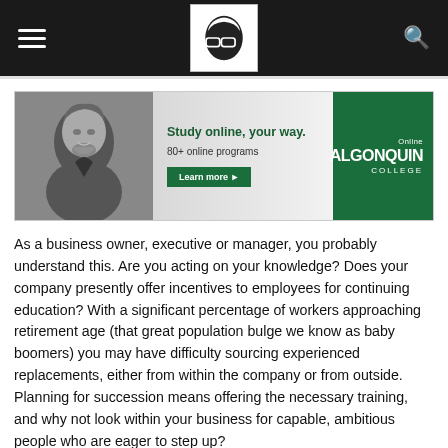Student [logo] navigation bar with hamburger menu and search icon
[Figure (infographic): Algonquin College Online advertisement banner: black and white photo of a man, text 'Study online, your way. 80+ online programs', 'Learn more' button, and green Algonquin College Online logo panel on the right.]
As a business owner, executive or manager, you probably understand this. Are you acting on your knowledge? Does your company presently offer incentives to employees for continuing education? With a significant percentage of workers approaching retirement age (that great population bulge we know as baby boomers) you may have difficulty sourcing experienced replacements, either from within the company or from outside. Planning for succession means offering the necessary training, and why not look within your business for capable, ambitious people who are eager to step up?